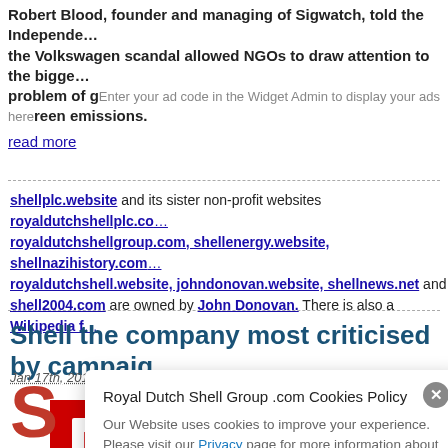Robert Blood, founder and managing of Sigwatch, told the Independe… the Volkswagen scandal allowed NGOs to draw attention to the bigge… problem of green emissions.
read more
shellplc.website and its sister non-profit websites royaldutchshellplc.com, royaldutchshellgroup.com, shellenergy.website, shellnazihistory.com, royaldutchshell.website, johndonovan.website, shellnews.net and shell2004.com are owned by John Donovan. There is also a Wikipedia f…
Shell the company most criticised by campaig…
Jan 17th, 2016 by John Donovan. Comments are off for this post
[Figure (screenshot): BBC News logo — white BBC letters on red background with red angular shape]
Royal Dutch Shell Group .com Cookies Policy
Our Website uses cookies to improve your experience. Please visit our Privacy page for more information about cookies and how we use them.